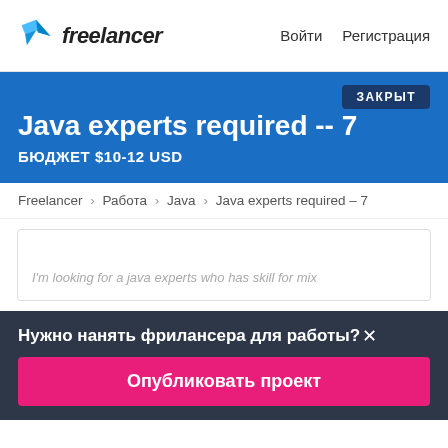Freelancer   Войти   Регистрация
Java experts required -- 7
ЗАКРЫТ
БЮДЖЕТ $10-12 USD
Freelancer › Работа › Java › Java experts required – 7
I'm looking for a java experts who has skill for mix
Нужно нанять фрилансера для работы?✕
Опубликовать проект